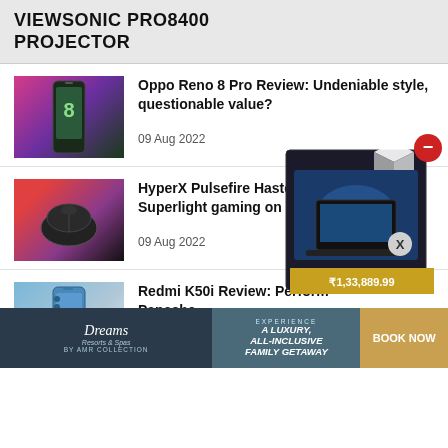VIEWSONIC PRO8400 PROJECTOR
[Figure (photo): Oppo Reno 8 Pro smartphone displayed in pink/purple gradient background]
Oppo Reno 8 Pro Review: Undeniable style, questionable value?
09 Aug 2022
[Figure (photo): HyperX Pulsefire Haste Wireless gaming mouse in dark background with colorful lighting]
HyperX Pulsefire Haste Wireless Review: Superlight gaming on a budget
09 Aug 2022
[Figure (photo): Redmi K50i smartphone in blue color on white background]
Redmi K50i Review: Perform... Panache
[Figure (photo): Product box advertisement overlay showing a laptop gaming product priced at ₹1,33,889.99]
[Figure (photo): Advertisement banner: Dreams Resorts - Experience A Luxury, All-Inclusive Family Getaway - Book Now]